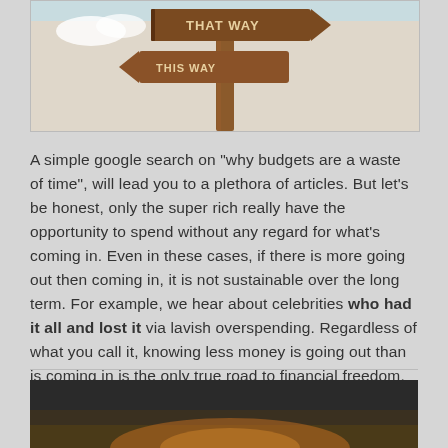[Figure (photo): A road sign post with directional signs, including one reading 'THAT WAY', against a light sky background with warm tones]
A simple google search on "why budgets are a waste of time", will lead you to a plethora of articles. But let's be honest, only the super rich really have the opportunity to spend without any regard for what's coming in. Even in these cases, if there is more going out then coming in, it is not sustainable over the long term. For example, we hear about celebrities who had it all and lost it via lavish overspending. Regardless of what you call it, knowing less money is going out than is coming in is the only true road to financial freedom.
Chat soon...Jo
[Figure (photo): A dark landscape photo with warm orange/golden tones at the bottom, partially visible at the bottom of the page]